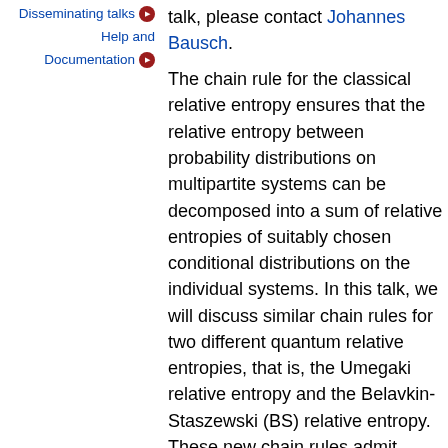Disseminating talks
Help and Documentation
talk, please contact Johannes Bausch.
The chain rule for the classical relative entropy ensures that the relative entropy between probability distributions on multipartite systems can be decomposed into a sum of relative entropies of suitably chosen conditional distributions on the individual systems. In this talk, we will discuss similar chain rules for two different quantum relative entropies, that is, the Umegaki relative entropy and the Belavkin-Staszewski (BS) relative entropy. These new chain rules admit important applications in the context of asymptotic quantum channel discrimination and quantum channel capacities. More precisely, the chain rule for the Umegaki relative entropy allows us to solve an open problem in quantum channel discrimination that adaptive